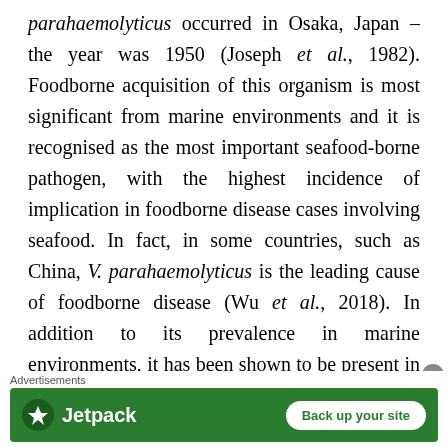parahaemolyticus occurred in Osaka, Japan – the year was 1950 (Joseph et al., 1982). Foodborne acquisition of this organism is most significant from marine environments and it is recognised as the most important seafood-borne pathogen, with the highest incidence of implication in foodborne disease cases involving seafood. In fact, in some countries, such as China, V. parahaemolyticus is the leading cause of foodborne disease (Wu et al., 2018). In addition to its prevalence in marine environments, it has been shown to be present in freshwater (Myatt and Davis, 1989) and in seafood caught from such areas (Sarkar et al., 1985), though this appears rare. Although widespread
Advertisements
[Figure (other): Jetpack advertisement banner with green background showing Jetpack logo and 'Back up your site' button]